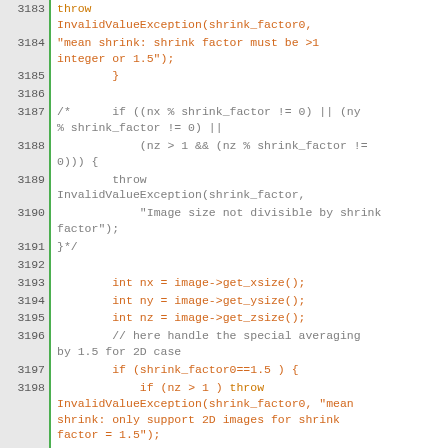[Figure (screenshot): Source code screenshot showing C++ code lines 3183–3203 with syntax highlighting. Line numbers in grey background on left, code in orange/brown on white background with green line separators.]